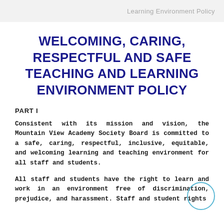Learning Environment Policy
WELCOMING, CARING, RESPECTFUL AND SAFE TEACHING AND LEARNING ENVIRONMENT POLICY
PART I
Consistent with its mission and vision, the Mountain View Academy Society Board is committed to a safe, caring, respectful, inclusive, equitable, and welcoming learning and teaching environment for all staff and students.
All staff and students have the right to learn and work in an environment free of discrimination, prejudice, and harassment. Staff and student rights